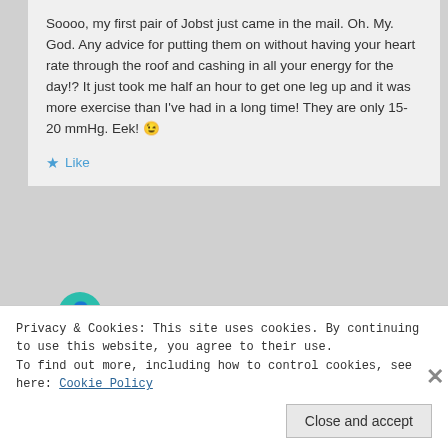Soooo, my first pair of Jobst just came in the mail. Oh. My. God. Any advice for putting them on without having your heart rate through the roof and cashing in all your energy for the day!? It just took me half an hour to get one leg up and it was more exercise than I've had in a long time! They are only 15-20 mmHg. Eek! 😉
Like
Jackie
July 30, 2013 at 5:22 pm
Privacy & Cookies: This site uses cookies. By continuing to use this website, you agree to their use.
To find out more, including how to control cookies, see here: Cookie Policy
Close and accept